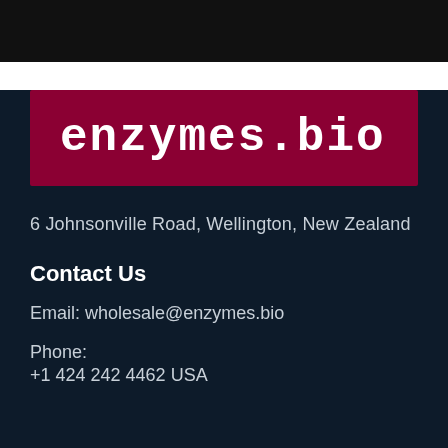[Figure (logo): enzymes.bio logo — white bold monospace text on dark red/crimson background]
6 Johnsonville Road, Wellington, New Zealand
Contact Us
Email: wholesale@enzymes.bio
Phone:
+1 424 242 4462 USA